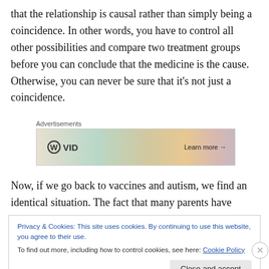that the relationship is causal rather than simply being a coincidence. In other words, you have to control all other possibilities and compare two treatment groups before you can conclude that the medicine is the cause. Otherwise, you can never be sure that it’s not just a coincidence.
[Figure (other): Advertisement banner with WordPress icon and 'VID' text, colorful background, 'Learn more →' button]
Now, if we go back to vaccines and autism, we find an identical situation. The fact that many parents have
Privacy & Cookies: This site uses cookies. By continuing to use this website, you agree to their use.
To find out more, including how to control cookies, see here: Cookie Policy
Close and accept